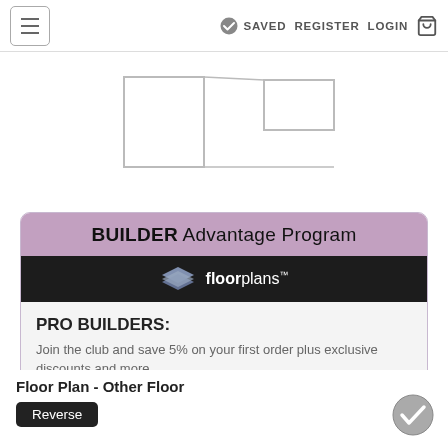≡  ✓ SAVED  REGISTER  LOGIN  🛒
[Figure (schematic): Partial floor plan diagram showing room outlines in top portion of page]
BUILDER Advantage Program
floorplans™
PRO BUILDERS:
Join the club and save 5% on your first order plus exclusive discounts and more.
JOIN FOR FREE
Click to Get Your Trend Report
Floor Plan - Other Floor
Reverse